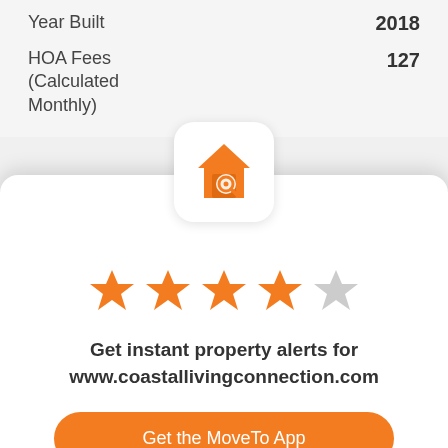| Field | Value |
| --- | --- |
| Year Built | 2018 |
| HOA Fees (Calculated Monthly) | 127 |
[Figure (logo): House search app icon with orange house and magnifying glass on white rounded square background]
[Figure (other): 4 out of 5 stars rating — four orange stars and one gray star]
Get instant property alerts for www.coastallivingconnection.com
Get the MoveTo App
Not Now